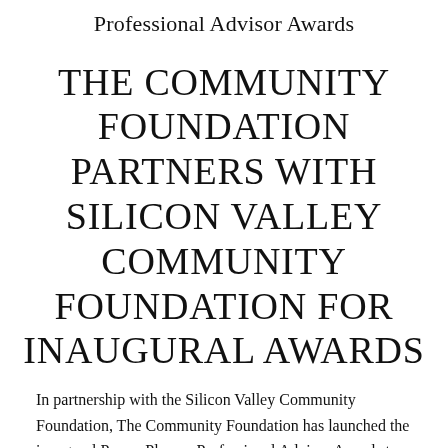Professional Advisor Awards
THE COMMUNITY FOUNDATION PARTNERS WITH SILICON VALLEY COMMUNITY FOUNDATION FOR INAUGURAL AWARDS
In partnership with the Silicon Valley Community Foundation, The Community Foundation has launched the inaugural Power Players Professional Advisor Awards to recognize philanthropic leaders. The first of its kind in Southwest Florida, the event will honor one distinguished Southwest